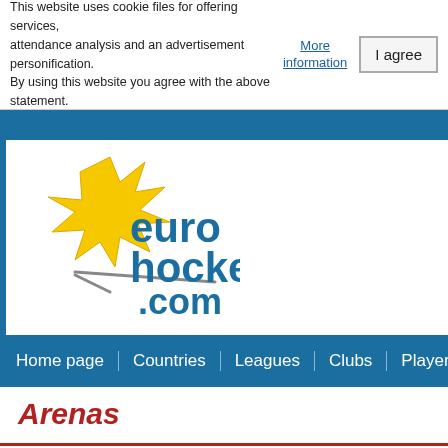This website uses cookie files for offering services, attendance analysis and an advertisement personification. By using this website you agree with the above statement.
More information
I agree
[Figure (logo): Euro Hockey .com logo with yellow star/bull figure and blue text]
Home page | Countries | Leagues | Clubs | Players | Gam...
Arenas
Search arena: type arena name or some text
Search by country: Denmark (25 arenas)  Sort by: name